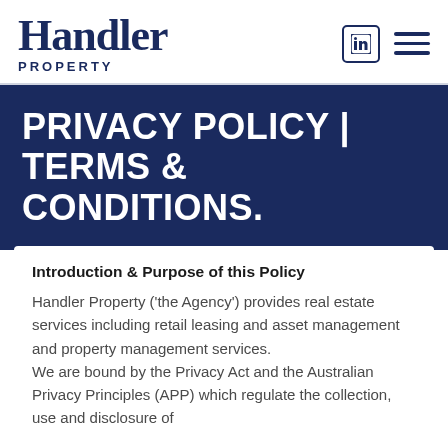Handler Property
PRIVACY POLICY | TERMS & CONDITIONS.
Introduction & Purpose of this Policy
Handler Property ('the Agency') provides real estate services including retail leasing and asset management and property management services.
We are bound by the Privacy Act and the Australian Privacy Principles (APP) which regulate the collection, use and disclosure of